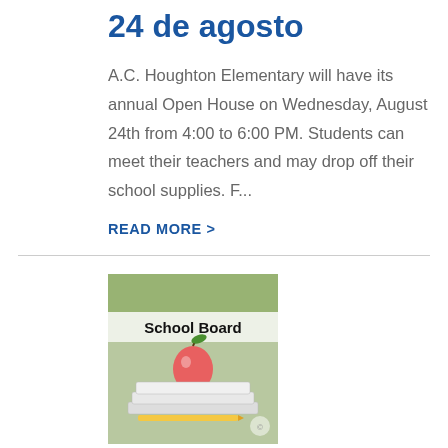24 de agosto
A.C. Houghton Elementary will have its annual Open House on Wednesday, August 24th from 4:00 to 6:00 PM. Students can meet their teachers and may drop off their school supplies. F...
READ MORE >
[Figure (photo): School Board thumbnail image with an apple on top of books and text 'School Board']
Morrow County School Board
Vacancy(Vacante en la